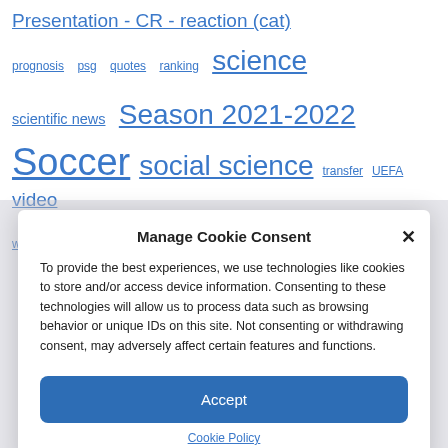Presentation - CR - reaction (cat) prognosis psg quotes ranking science scientific news Season 2021-2022 Soccer social science transfer UEFA video world Cup You're here zoology
Manage Cookie Consent
To provide the best experiences, we use technologies like cookies to store and/or access device information. Consenting to these technologies will allow us to process data such as browsing behavior or unique IDs on this site. Not consenting or withdrawing consent, may adversely affect certain features and functions.
Accept
Cookie Policy